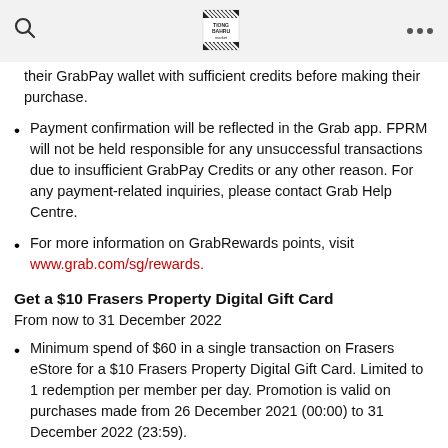Tiong Bahru market
their GrabPay wallet with sufficient credits before making their purchase.
Payment confirmation will be reflected in the Grab app. FPRM will not be held responsible for any unsuccessful transactions due to insufficient GrabPay Credits or any other reason. For any payment-related inquiries, please contact Grab Help Centre.
For more information on GrabRewards points, visit www.grab.com/sg/rewards.
Get a $10 Frasers Property Digital Gift Card
From now to 31 December 2022
Minimum spend of $60 in a single transaction on Frasers eStore for a $10 Frasers Property Digital Gift Card. Limited to 1 redemption per member per day. Promotion is valid on purchases made from 26 December 2021 (00:00) to 31 December 2022 (23:59).